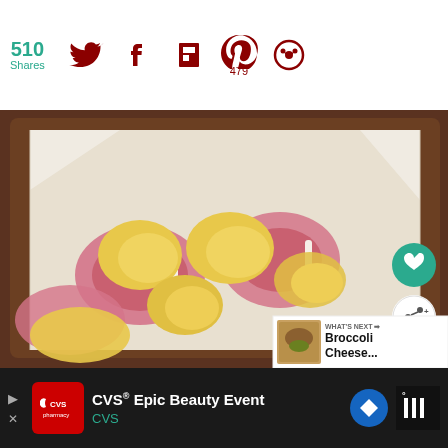[Figure (screenshot): Share bar with 510 total shares count in teal, Twitter bird icon in dark red, Facebook f icon in dark red, Flipboard F icon in dark red, Pinterest P icon in dark red with 479 count, and a circular share icon in dark red]
[Figure (photo): Raw pork chops topped with canned peach halves arranged in a parchment-paper lined dark baking dish, photographed from above. Overlaid with a teal heart button and white share button. A 'What's Next' widget shows Broccoli Cheese thumbnail.]
[Figure (screenshot): Ad banner: CVS Epic Beauty Event advertisement with CVS pharmacy red logo, text 'CVS® Epic Beauty Event' in white and 'CVS' in teal, a blue diamond navigation icon, and WeatherBug logo on dark background]